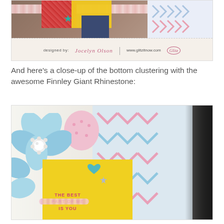[Figure (photo): Close-up photo of a handmade craft card with pink lace trim, yellow letters, red patterned paper, navy paper, teal star embellishment, and chevron patterned paper. Designer credit bar below reads 'designed by: Jocelyn Olson | www.glitzitnow.com' with Glitz logo.]
And here's a close-up of the bottom clustering with the awesome Finnley Giant Rhinestone:
[Figure (photo): Close-up photo of the bottom clustering of a handmade scrapbook card featuring a blue felt flower with pearl rhinestone center, pink polka-dot heart, yellow card base with 'THE BEST PART OF ME IS YOU' stamped in red, small teal heart and star embellishments, pink lace trim, and chevron-patterned paper background in pink and blue tones. Dark brown background on the right.]